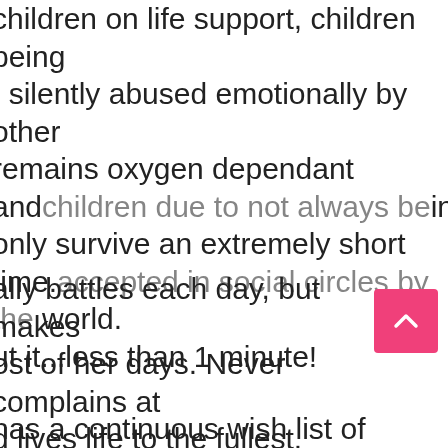children on life support, children being silently abused emotionally by other children due to not always being accepted in social circles by the world. remains oxygen dependant and only survive an extremely short time. ut it...less than 1 minute!
ally battles each day, but makes ost of her days. Never complains at d lives life to the fullest. ugh she has not had an easy life, remains so happy and her faith is y strong. She touches the lives of person she meets and is known as very own angel.
has a continuous wish list of things